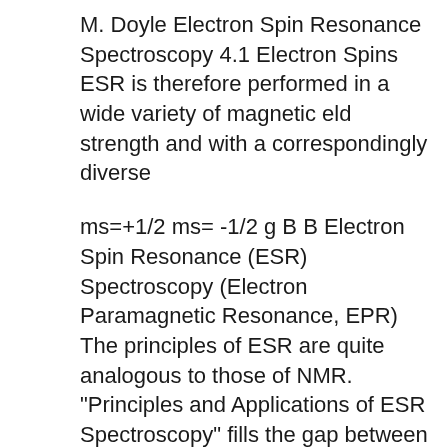M. Doyle Electron Spin Resonance Spectroscopy 4.1 Electron Spins ESR is therefore performed in a wide variety of magnetic eld strength and with a correspondingly diverse
ms=+1/2 ms= -1/2 g B B Electron Spin Resonance (ESR) Spectroscopy (Electron Paramagnetic Resonance, EPR) The principles of ESR are quite analogous to those of NMR. "Principles and Applications of ESR Spectroscopy" fills the gap between the detailed monographs in ESR spectroscopy and the general textbooks in molecular physics, physical chemistry, biochemistry or вЂ¦